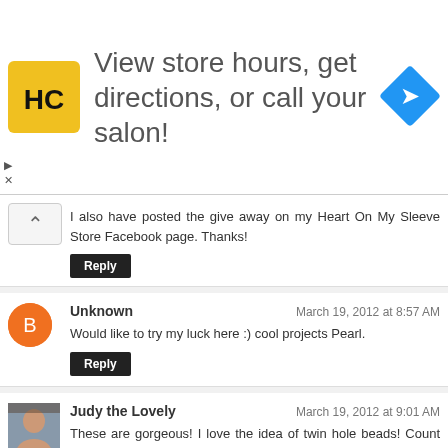[Figure (infographic): Advertisement banner: HC logo (yellow square with black HC letters), text 'View store hours, get directions, or call your salon!', and a blue diamond-shaped direction arrow icon on the right.]
I also have posted the give away on my Heart On My Sleeve Store Facebook page. Thanks!
Reply
Unknown
March 19, 2012 at 8:57 AM
Would like to try my luck here :) cool projects Pearl.
Reply
Judy the Lovely
March 19, 2012 at 9:01 AM
These are gorgeous! I love the idea of twin hole beads! Count me in on the giveaway!
Reply